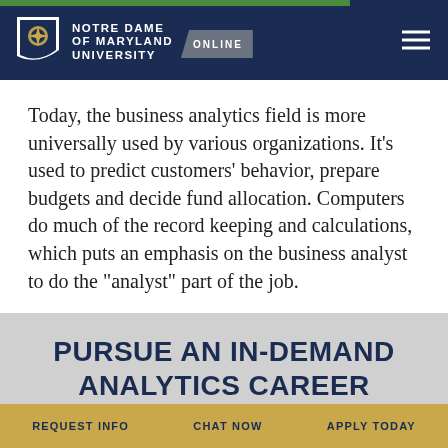NOTRE DAME OF MARYLAND UNIVERSITY ONLINE
Today, the business analytics field is more universally used by various organizations. It’s used to predict customers’ behavior, prepare budgets and decide fund allocation. Computers do much of the record keeping and calculations, which puts an emphasis on the business analyst to do the “analyst” part of the job.
PURSUE AN IN-DEMAND ANALYTICS CAREER
REQUEST INFO   CHAT NOW   APPLY TODAY